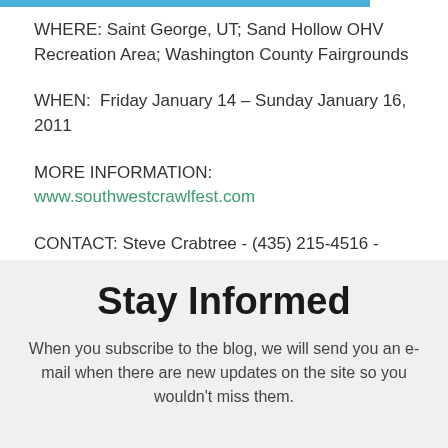WHERE: Saint George, UT; Sand Hollow OHV Recreation Area; Washington County Fairgrounds
WHEN:  Friday January 14 – Sunday January 16, 2011
MORE INFORMATION: www.southwestcrawlfest.com
CONTACT: Steve Crabtree - (435) 215-4516 - steve@ra4x4.org
Stay Informed
When you subscribe to the blog, we will send you an e-mail when there are new updates on the site so you wouldn't miss them.